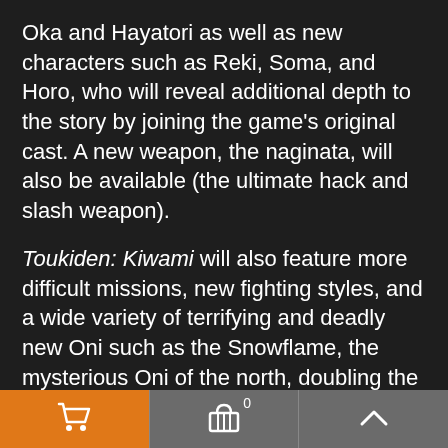Oka and Hayatori as well as new characters such as Reki, Soma, and Horo, who will reveal additional depth to the story by joining the game's original cast. A new weapon, the naginata, will also be available (the ultimate hack and slash weapon).
Toukiden: Kiwami will also feature more difficult missions, new fighting styles, and a wide variety of terrifying and deadly new Oni such as the Snowflame, the mysterious Oni of the north, doubling the Oni from the original title. Also, existing Oni have been strengthened with new moves, creating twice the tension on the battlefield.
Multiplayer works similarly to the previous title, supporting cooperative play with support for up to four players. In addition to the ability to play both the PS Vita and PS4 versions via cross-play, players will also be able to carry over all of their weapons, armor,
[Figure (other): Bottom navigation bar with three buttons: orange shopping cart icon on the left, grey basket/cart icon with badge '0' in the center, and grey up-arrow chevron on the right.]